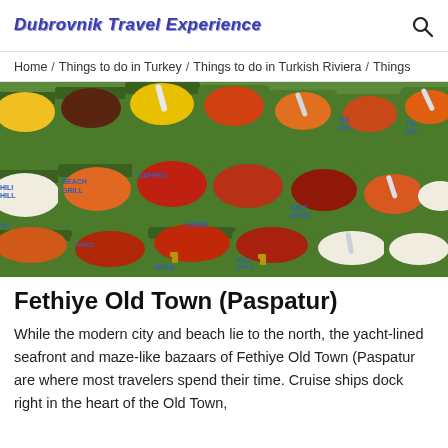Dubrovnik Travel Experience
Home / Things to do in Turkey / Things to do in Turkish Riviera / Things
[Figure (photo): Colorful spices and grains displayed in green wooden barrels at a bazaar market]
Fethiye Old Town (Paspatur)
While the modern city and beach lie to the north, the yacht-lined seafront and maze-like bazaars of Fethiye Old Town (Paspatur are where most travelers spend their time. Cruise ships dock right in the heart of the Old Town,